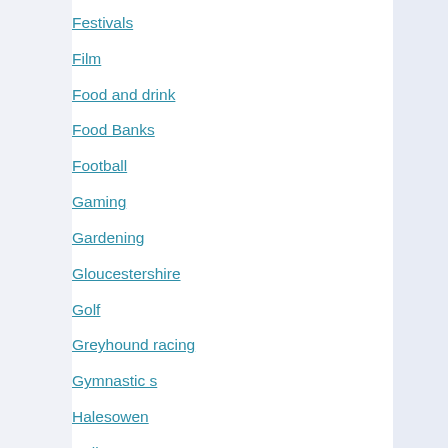Festivals
Film
Food and drink
Food Banks
Football
Gaming
Gardening
Gloucestershire
Golf
Greyhound racing
Gymnastic s
Halesowen
Hall Green
Handsworth
Harborne
Health